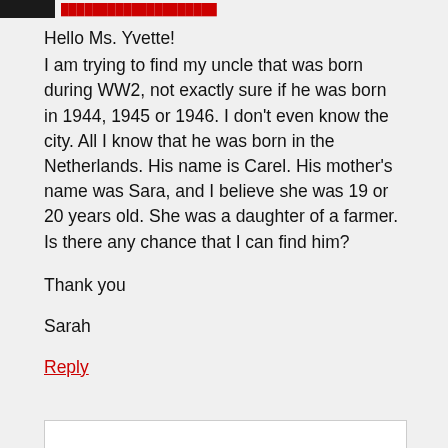Hello Ms. Yvette!
I am trying to find my uncle that was born during WW2, not exactly sure if he was born in 1944, 1945 or 1946. I don't even know the city. All I know that he was born in the Netherlands. His name is Carel. His mother's name was Sara, and I believe she was 19 or 20 years old. She was a daughter of a farmer. Is there any chance that I can find him?
Thank you
Sarah
Reply